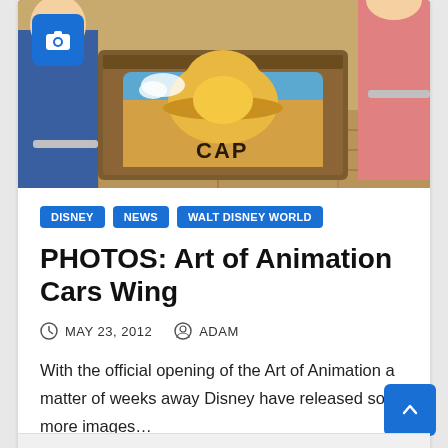[Figure (photo): Photo of Art of Animation Cars Wing interior showing a table with a Cars-themed design featuring a character with a yellow hat and 'CAP' text visible, with people seated in the background on a wooden floor]
DISNEY
NEWS
WALT DISNEY WORLD
PHOTOS: Art of Animation Cars Wing
MAY 23, 2012   ADAM
With the official opening of the Art of Animation a matter of weeks away Disney have released some more images…